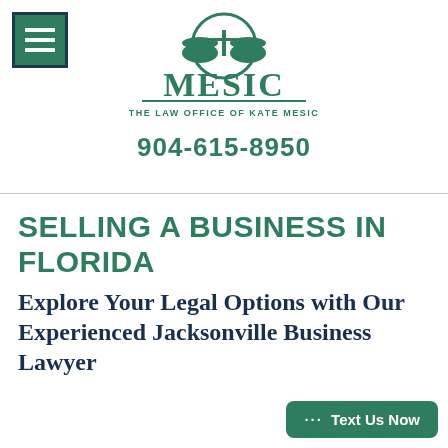[Figure (logo): Mesic law firm logo: scales of justice symbol above the text 'MESIC' in large green serif letters, with 'THE LAW OFFICE OF KATE MESIC' below in smaller green uppercase letters]
904-615-8950
SELLING A BUSINESS IN FLORIDA
Explore Your Legal Options with Our Experienced Jacksonville Business Lawyer
··· Text Us Now